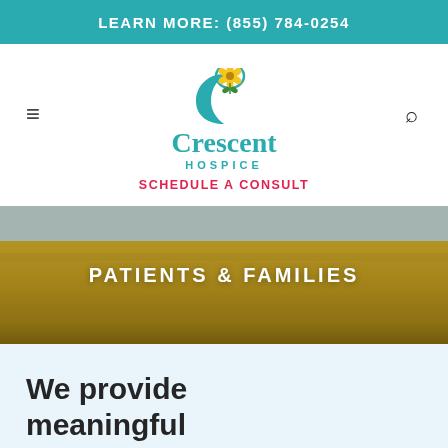LEARN MORE: (855) 784-0254
[Figure (logo): Crescent Hospice logo with teal crescent moon and yellow flower above the text 'Crescent HOSPICE']
SCHEDULE A CONSULT
[Figure (photo): Golden wheat/grass field under a sky, used as a hero banner background]
PATIENTS & FAMILIES
We provide meaningful